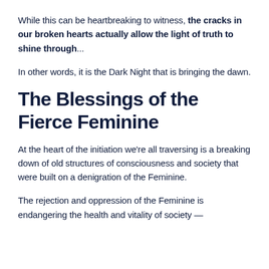While this can be heartbreaking to witness, the cracks in our broken hearts actually allow the light of truth to shine through...
In other words, it is the Dark Night that is bringing the dawn.
The Blessings of the Fierce Feminine
At the heart of the initiation we're all traversing is a breaking down of old structures of consciousness and society that were built on a denigration of the Feminine.
The rejection and oppression of the Feminine is endangering the health and vitality of society —